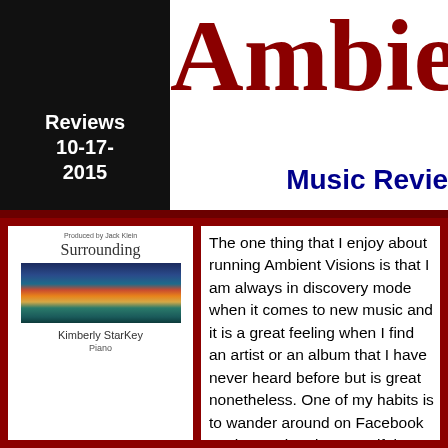Ambient V
Reviews 10-17-2015
Music Revie
[Figure (illustration): Album cover for 'Surrounding' by Kimberly StarKey. White background with 'Produced by Jack Klein' at top, album title 'Surrounding' in serif font, a landscape photo of a sunset over water, artist name 'Kimberly StarKey' and instrument 'Piano' below.]
Surrounding
by Kimberly StarKey
The one thing that I enjoy about running Ambient Visions is that I am always in discovery mode when it comes to new music and it is a great feeling when I find an artist or an album that I have never heard before but is great nonetheless. One of my habits is to wander around on Facebook on the weekends to see if there are musicians that I might have missed because as we all know there are dozens of releases each